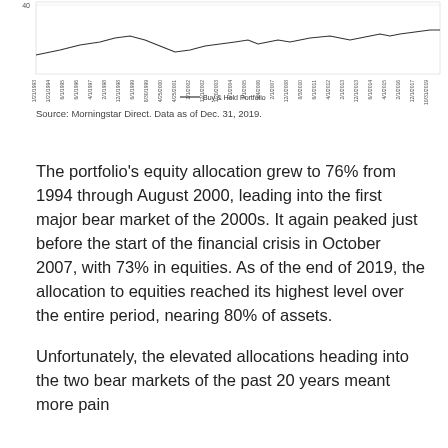[Figure (continuous-plot): Line chart showing Buy & Hold Portfolio equity allocation over time from 1/21/1993 to 10/31/2019. The y-axis shows values up to 40. The x-axis shows dates at regular intervals. A legend at the bottom indicates the line represents the Buy & Hold Portfolio.]
Source: Morningstar Direct. Data as of Dec. 31, 2019.
The portfolio's equity allocation grew to 76% from 1994 through August 2000, leading into the first major bear market of the 2000s. It again peaked just before the start of the financial crisis in October 2007, with 73% in equities. As of the end of 2019, the allocation to equities reached its highest level over the entire period, nearing 80% of assets.
Unfortunately, the elevated allocations heading into the two bear markets of the past 20 years meant more pain